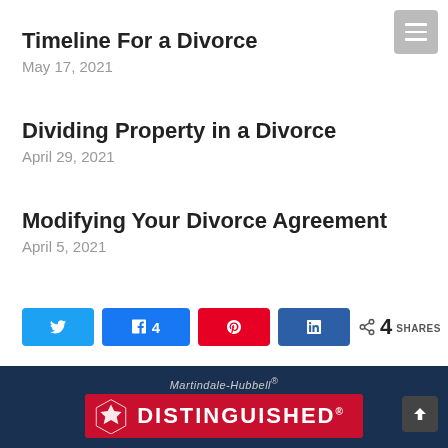[Figure (other): Hamburger menu button (grey rounded square with three white horizontal bars)]
Timeline For a Divorce
May 17, 2021
Dividing Property in a Divorce
April 29, 2021
Modifying Your Divorce Agreement
April 5, 2021
[Figure (infographic): Social share buttons row: Twitter (blue), Facebook (blue, count 4), Pinterest (red), LinkedIn (dark blue), share icon with count 4 SHARES]
[Figure (logo): Martindale-Hubbell Distinguished badge on dark navy background with red shield/star logo]